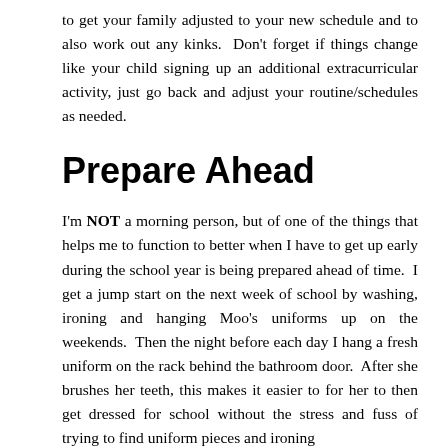to get your family adjusted to your new schedule and to also work out any kinks.  Don't forget if things change like your child signing up an additional extracurricular activity, just go back and adjust your routine/schedules as needed.
Prepare Ahead
I'm NOT a morning person, but of one of the things that helps me to function to better when I have to get up early during the school year is being prepared ahead of time.  I get a jump start on the next week of school by washing, ironing and hanging Moo's uniforms up on the weekends.  Then the night before each day I hang a fresh uniform on the rack behind the bathroom door.  After she brushes her teeth, this makes it easier to for her to then get dressed for school without the stress and fuss of trying to find uniform pieces and ironing